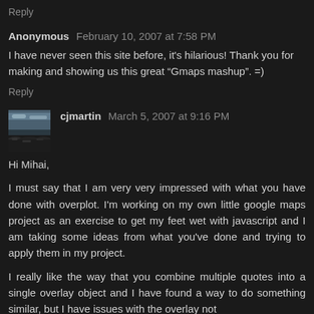Reply
Anonymous  February 10, 2007 at 7:58 PM
I have never seen this site before, it's hilarious! Thank you for making and showing us this great "Gmaps mashup". =)
Reply
[Figure (photo): Small avatar photo of cjmartin showing a rocky landscape with sky]
cjmartin  March 5, 2007 at 9:16 PM
Hi Mihai,
I must say that I am very very impressed with what you have done with overplot. I'm working on my own little google maps project as an exercise to get my feet wet with javascript and I am taking some ideas from what you've done and trying to apply them in my project.
I really like the way that you combine multiple quotes into a single overlay object and I have found a way to do something similar, but I have issues with the overlay not